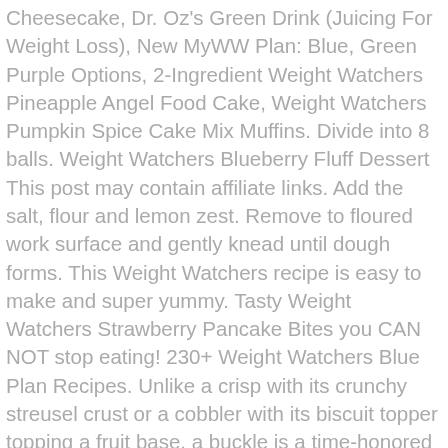Cheesecake, Dr. Oz's Green Drink (Juicing For Weight Loss), New MyWW Plan: Blue, Green Purple Options, 2-Ingredient Weight Watchers Pineapple Angel Food Cake, Weight Watchers Pumpkin Spice Cake Mix Muffins. Divide into 8 balls. Weight Watchers Blueberry Fluff Dessert This post may contain affiliate links. Add the salt, flour and lemon zest. Remove to floured work surface and gently knead until dough forms. This Weight Watchers recipe is easy to make and super yummy. Tasty Weight Watchers Strawberry Pancake Bites you CAN NOT stop eating! 230+ Weight Watchers Blue Plan Recipes. Unlike a crisp with its crunchy streusel crust or a cobbler with its biscuit topper topping a fruit base, a buckle is a time-honored recipe, similar to a coffee cake, that fuses cake batter and fruit together beneath a crumbly streusel topping. I earn a commission through purchases made via this link. Great for making a batch and saving for the rest of the week. Blueberry Muffins for 3 Weight Watchers Points I made my kids a batch of blueberry muffins from a recipe my youngest